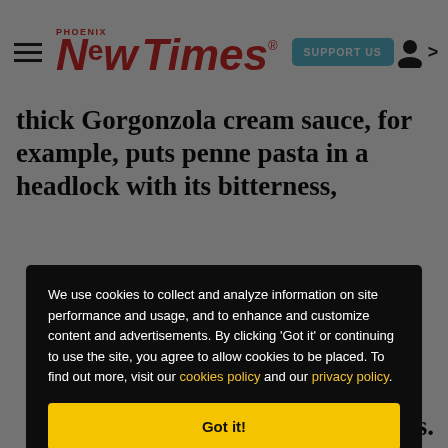Phoenix New Times — SUPPORT US
thick Gorgonzola cream sauce, for example, puts penne pasta in a headlock with its bitterness, completely obscuring the charm
[Figure (screenshot): Cookie consent modal with dark background overlay. Text reads: We use cookies to collect and analyze information on site performance and usage, and to enhance and customize content and advertisements. By clicking 'Got it' or continuing to use the site, you agree to allow cookies to be placed. To find out more, visit our cookies policy and our privacy policy. Yellow 'Got it!' button at bottom.]
reen 3.95) ing od yway, ted to ions.